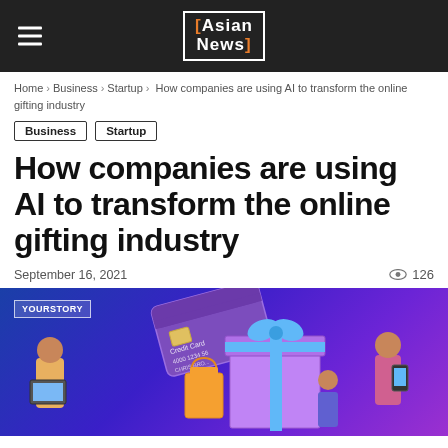Asian News
Home › Business › Startup › How companies are using AI to transform the online gifting industry
Business
Startup
How companies are using AI to transform the online gifting industry
September 16, 2021   👁 126
[Figure (illustration): Colorful illustration with blue/purple gradient background showing a credit card, gift box with blue ribbon, shopping bags, and people with devices. YourStory watermark in top left.]